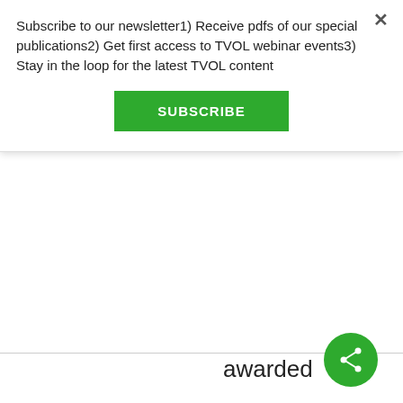Subscribe to our newsletter1) Receive pdfs of our special publications2) Get first access to TVOL webinar events3) Stay in the loop for the latest TVOL content
[Figure (other): Green SUBSCRIBE button]
awarded (r=.96), ETC. (actually, as Hirschfeld notes, there
[Figure (other): Green circular share button with share icon]